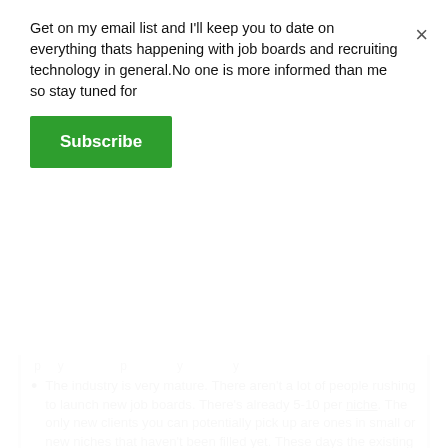Get on my email list and I'll keep you to date on everything thats happening with job boards and recruiting technology in general.No one is more informed than me so stay tuned for
Subscribe
× (close button)
The industry is very mature. There aren't a lot of people rushing to launch new job boards. There's already 5-10 per niche. The only new clients you can potentially pick up are ones in small or new niches that haven't been filled yet. These days the existing software providers are merely swapping clients with each other. Newer clients are hard to come by.
There are already plenty of options. From Jobboard.io to WebScribble to the many WordPress job board templates we have plenty of options to choose from. And you can always build a custom one which many people choose to do since job board owners LIKE customization.